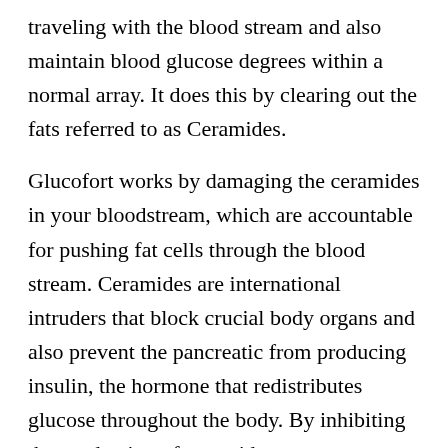traveling with the blood stream and also maintain blood glucose degrees within a normal array. It does this by clearing out the fats referred to as Ceramides.
Glucofort works by damaging the ceramides in your bloodstream, which are accountable for pushing fat cells through the blood stream. Ceramides are international intruders that block crucial body organs and also prevent the pancreatic from producing insulin, the hormone that redistributes glucose throughout the body. By inhibiting the production of ceramides,